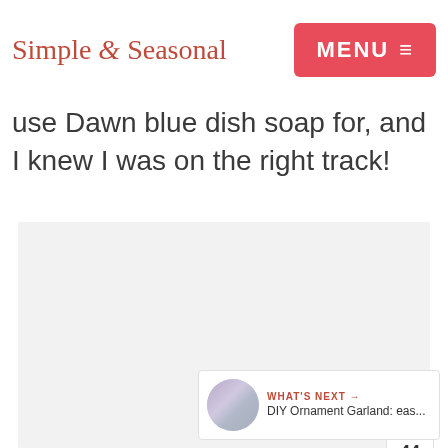Simple & Seasonal
use Dawn blue dish soap for, and I knew I was on the right track!
[Figure (photo): Large light gray placeholder image area]
WHAT'S NEXT → DIY Ornament Garland: eas...